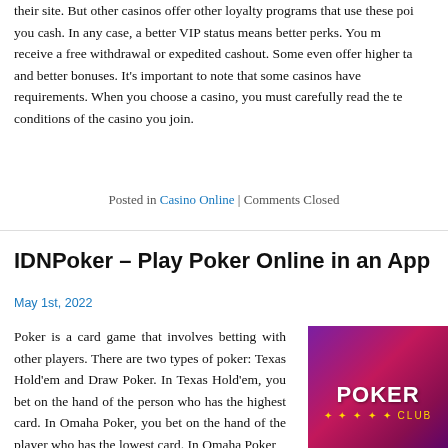their site. But other casinos offer other loyalty programs that use these points to give you cash. In any case, a better VIP status means better perks. You may receive a free withdrawal or expedited cashout. Some even offer higher table limits and better bonuses. It's important to note that some casinos have wagering requirements. When you choose a casino, you must carefully read the terms and conditions of the casino you join.
Posted in Casino Online | Comments Closed
IDNPoker – Play Poker Online in an App
May 1st, 2022
Poker is a card game that involves betting with other players. There are two types of poker: Texas Hold'em and Draw Poker. In Texas Hold'em, you bet on the hand of the person who has the highest card. In Omaha Poker, you bet on the hand of the player who has the lowest card. In Omaha Poker, you bet on the hand of the player who has the highest card. In Omaha Poker, you bet on the hand of the player with the highest card.
[Figure (photo): Purple and pink poker-themed image with casino chips and cards, showing 'POKER CLUB' text in gold/white lettering]
Online poker is gaining popularity due to the COVID-19 pandemic, which has caused many gaming venues to close their doors indefinitely. Many of these unregulated gaming establishments have closed their doors, leaving their communities without entertainment options. Many casual players have turned to online poker as a solution to the lack of live gaming options. Some operators reported do